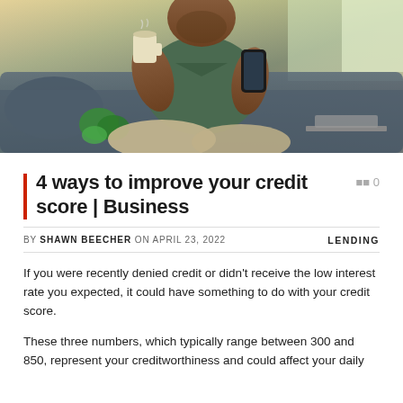[Figure (photo): Man sitting cross-legged on a couch holding a coffee mug and smartphone, with a plant and laptop visible in the background.]
4 ways to improve your credit score | Business
BY SHAWN BEECHER ON APRIL 23, 2022   LENDING
If you were recently denied credit or didn't receive the low interest rate you expected, it could have something to do with your credit score.
These three numbers, which typically range between 300 and 850, represent your creditworthiness and could affect your daily